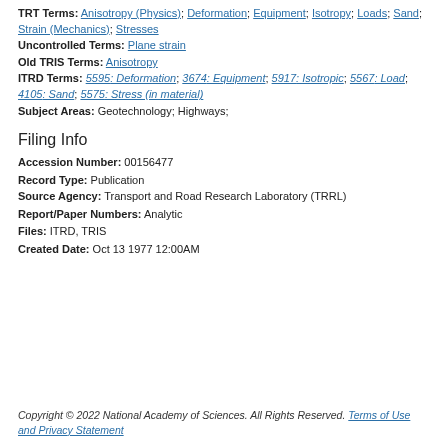TRT Terms: Anisotropy (Physics); Deformation; Equipment; Isotropy; Loads; Sand; Strain (Mechanics); Stresses
Uncontrolled Terms: Plane strain
Old TRIS Terms: Anisotropy
ITRD Terms: 5595: Deformation; 3674: Equipment; 5917: Isotropic; 5567: Load; 4105: Sand; 5575: Stress (in material)
Subject Areas: Geotechnology; Highways;
Filing Info
Accession Number: 00156477
Record Type: Publication
Source Agency: Transport and Road Research Laboratory (TRRL)
Report/Paper Numbers: Analytic
Files: ITRD, TRIS
Created Date: Oct 13 1977 12:00AM
Copyright © 2022 National Academy of Sciences. All Rights Reserved. Terms of Use and Privacy Statement